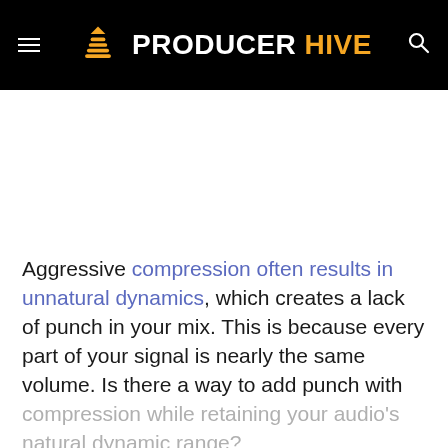[Figure (logo): Producer Hive website header with hamburger menu, beehive logo icon, PRODUCER HIVE text logo, and search icon on black background]
Aggressive compression often results in unnatural dynamics, which creates a lack of punch in your mix. This is because every part of your signal is nearly the same volume. Is there a way to add punch with compression while retaining your audio's natural dynamic range?